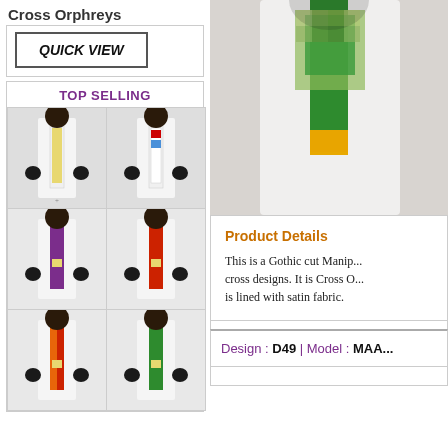Cross Orphreys
QUICK VIEW
TOP SELLING
[Figure (photo): Grid of 6 product photos showing manipular vestments in different colors: white/gold, white/multicolor, purple, red, orange/red, and green]
[Figure (photo): Main product photo of a green and gold Gothic cut Manipular vestment with cross orphreys, partially blurred/pixelated]
Product Details
This is a Gothic cut Manip... cross designs. It is Cross O... is lined with satin fabric.
Design : D49 | Model : MAA...